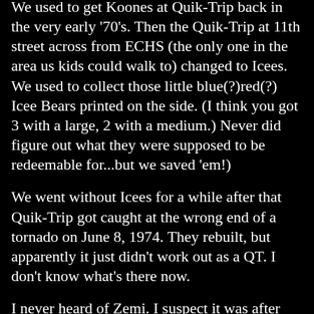We used to get Koones at Quik-Trip back in the very early '70's. Then the Quik-Trip at 11th street across from ECHS (the only one in the area us kids could walk to) changed to Icees. We used to collect those little blue(?)red(?) Icee Bears printed on the side. (I think you got 3 with a large, 2 with a medium.) Never did figure out what they were supposed to be redeemable for...but we saved 'em!)
We went without Icees for a while after that Quik-Trip got caught at the wrong end of a tornado on June 8, 1974. They rebuilt, but apparently it just didn't work out as a QT. I don't know what's there now.
I never heard of Zemi. I suspect it was after my time. (When I was in school vending machines of any sort were not even on the scholastic radar. We thought a pay phone in hallway was the big time! :-))
Question for you guys! What was the name of the little squirrel critter Uncle Zeb used to make out of his bandana?